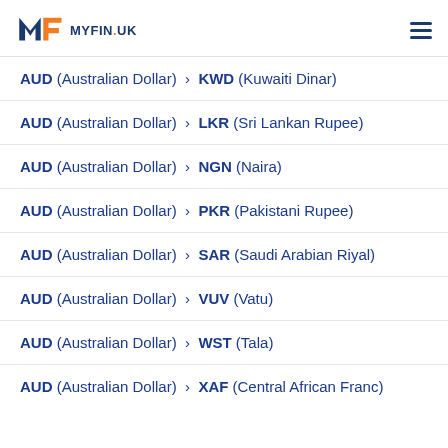MYFIN.UK
AUD (Australian Dollar) > KWD (Kuwaiti Dinar)
AUD (Australian Dollar) > LKR (Sri Lankan Rupee)
AUD (Australian Dollar) > NGN (Naira)
AUD (Australian Dollar) > PKR (Pakistani Rupee)
AUD (Australian Dollar) > SAR (Saudi Arabian Riyal)
AUD (Australian Dollar) > VUV (Vatu)
AUD (Australian Dollar) > WST (Tala)
AUD (Australian Dollar) > XAF (Central African Franc)